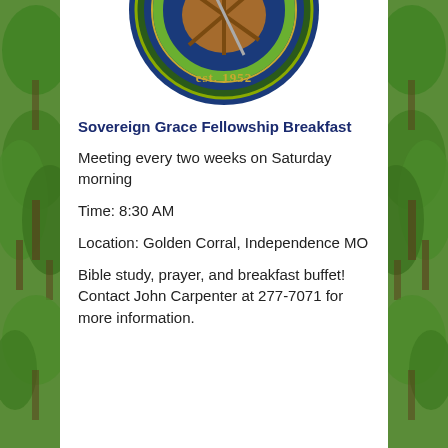[Figure (logo): Circular organization logo/badge with green and blue colors, showing 'est. 1952' text, partially visible at top]
Sovereign Grace Fellowship Breakfast
Meeting every two weeks on Saturday morning
Time: 8:30 AM
Location: Golden Corral, Independence MO
Bible study, prayer, and breakfast buffet! Contact John Carpenter at 277-7071 for more information.